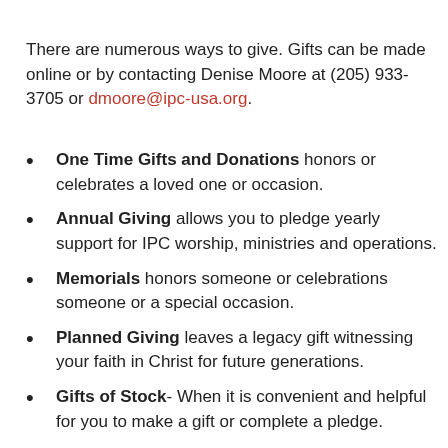There are numerous ways to give. Gifts can be made online or by contacting Denise Moore at (205) 933-3705 or dmoore@ipc-usa.org.
One Time Gifts and Donations honors or celebrates a loved one or occasion.
Annual Giving allows you to pledge yearly support for IPC worship, ministries and operations.
Memorials honors someone or celebrations someone or a special occasion.
Planned Giving leaves a legacy gift witnessing your faith in Christ for future generations.
Gifts of Stock- When it is convenient and helpful for you to make a gift or complete a pledge.